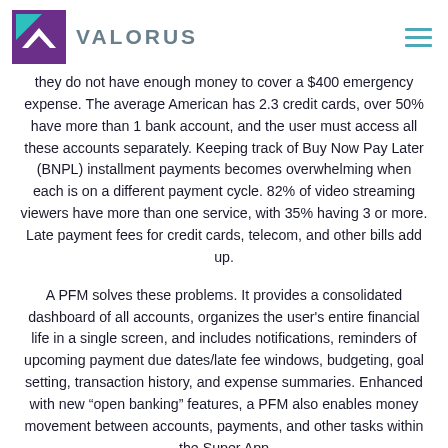VALORUS
they do not have enough money to cover a $400 emergency expense. The average American has 2.3 credit cards, over 50% have more than 1 bank account, and the user must access all these accounts separately. Keeping track of Buy Now Pay Later (BNPL) installment payments becomes overwhelming when each is on a different payment cycle. 82% of video streaming viewers have more than one service, with 35% having 3 or more. Late payment fees for credit cards, telecom, and other bills add up.
A PFM solves these problems. It provides a consolidated dashboard of all accounts, organizes the user's entire financial life in a single screen, and includes notifications, reminders of upcoming payment due dates/late fee windows, budgeting, goal setting, transaction history, and expense summaries. Enhanced with new “open banking” features, a PFM also enables money movement between accounts, payments, and other tasks within the Super App